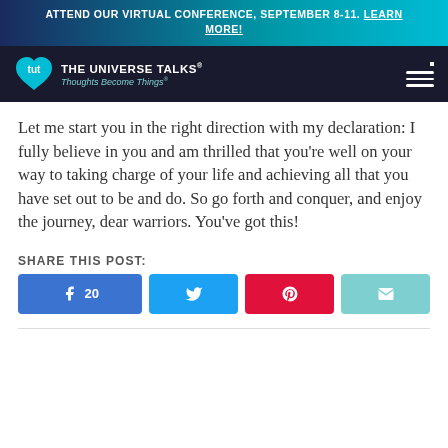ATTEND OUR VIRTUAL CONFERENCE, SEPTEMBER 8-11. LEARN MORE!
[Figure (logo): The Universe Talks logo with tut heart icon, tagline: Thoughts Become Things]
Let me start you in the right direction with my declaration: I fully believe in you and am thrilled that you're well on your way to taking charge of your life and achieving all that you have set out to be and do. So go forth and conquer, and enjoy the journey, dear warriors. You've got this!
SHARE THIS POST:
Facebook share button with count 20, Twitter share button, Pinterest share button, Email share button